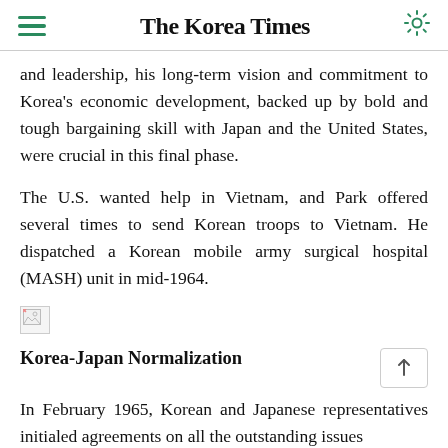The Korea Times
and leadership, his long-term vision and commitment to Korea's economic development, backed up by bold and tough bargaining skill with Japan and the United States, were crucial in this final phase.
The U.S. wanted help in Vietnam, and Park offered several times to send Korean troops to Vietnam. He dispatched a Korean mobile army surgical hospital (MASH) unit in mid-1964.
[Figure (illustration): Broken/missing image placeholder icon]
Korea-Japan Normalization
In February 1965, Korean and Japanese representatives initialed agreements on all the outstanding issues